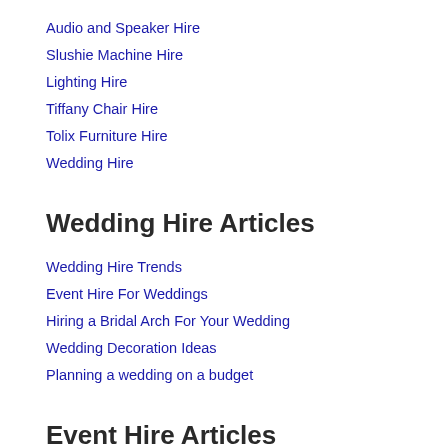Audio and Speaker Hire
Slushie Machine Hire
Lighting Hire
Tiffany Chair Hire
Tolix Furniture Hire
Wedding Hire
Wedding Hire Articles
Wedding Hire Trends
Event Hire For Weddings
Hiring a Bridal Arch For Your Wedding
Wedding Decoration Ideas
Planning a wedding on a budget
Event Hire Articles
Types of Table Event Hire
Slushie Machine Hire
Corporate Event Hire